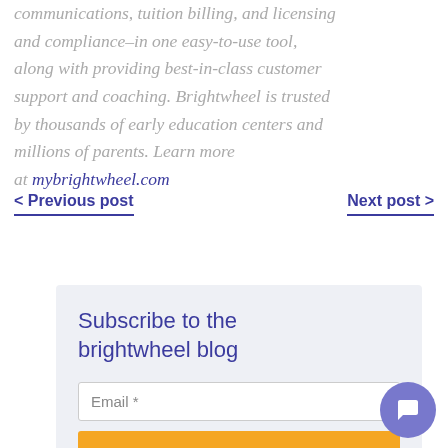communications, tuition billing, and licensing and compliance–in one easy-to-use tool, along with providing best-in-class customer support and coaching. Brightwheel is trusted by thousands of early education centers and millions of parents. Learn more at mybrightwheel.com
< Previous post
Next post >
Subscribe to the brightwheel blog
Email *